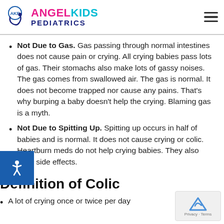Angel Kids Pediatrics
Not Due to Gas. Gas passing through normal intestines does not cause pain or crying. All crying babies pass lots of gas. Their stomachs also make lots of gassy noises. The gas comes from swallowed air. The gas is normal. It does not become trapped nor cause any pains. That's why burping a baby doesn't help the crying. Blaming gas is a myth.
Not Due to Spitting Up. Spitting up occurs in half of babies and is normal. It does not cause crying or colic. Heartburn meds do not help crying babies. They also have side effects.
Definition of Colic
A lot of crying once or twice per day